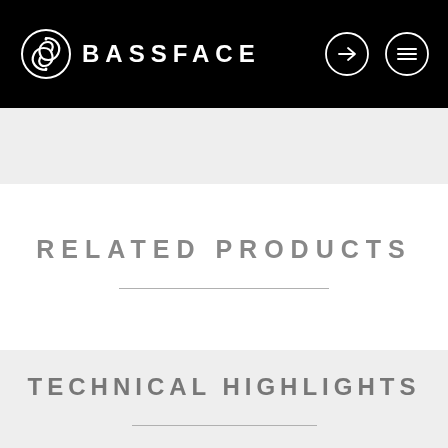BASSFACE
RELATED PRODUCTS
TECHNICAL HIGHLIGHTS